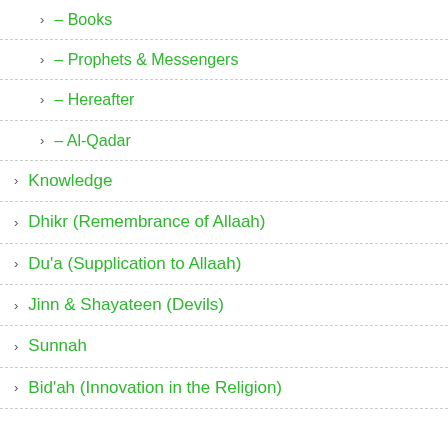– Books
– Prophets & Messengers
– Hereafter
– Al-Qadar
Knowledge
Dhikr (Remembrance of Allaah)
Du'a (Supplication to Allaah)
Jinn & Shayateen (Devils)
Sunnah
Bid'ah (Innovation in the Religion)